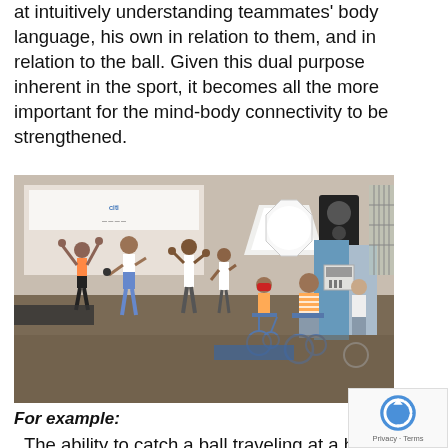at intuitively understanding teammates' body language, his own in relation to them, and in relation to the ball. Given this dual purpose inherent in the sport, it becomes all the more important for the mind-body connectivity to be strengthened.
[Figure (photo): Group of people in an indoor setting; some standing with arms raised, others seated in wheelchairs. A large softbox light and a speaker are visible in the background with banners on the wall.]
For example:
. The ability to catch a ball traveling at a high